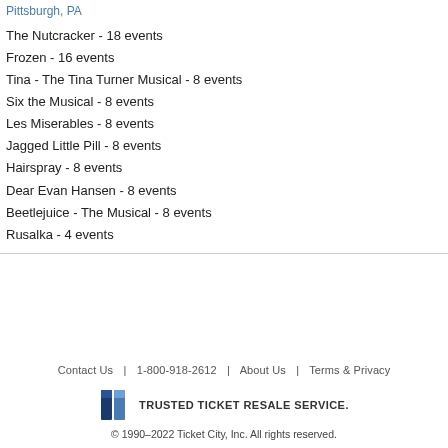Pittsburgh, PA
The Nutcracker - 18 events
Frozen - 16 events
Tina - The Tina Turner Musical - 8 events
Six the Musical - 8 events
Les Miserables - 8 events
Jagged Little Pill - 8 events
Hairspray - 8 events
Dear Evan Hansen - 8 events
Beetlejuice - The Musical - 8 events
Rusalka - 4 events
Contact Us | 1-800-918-2612 | About Us | Terms & Privacy
TRUSTED TICKET RESALE SERVICE.
© 1990–2022 Ticket City, Inc. All rights reserved.